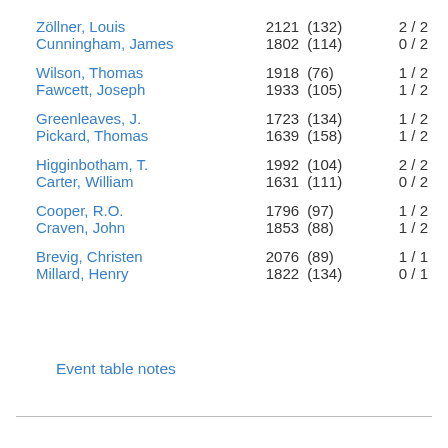| Name | Rating | (Games) | Score |
| --- | --- | --- | --- |
| Zöllner, Louis | 2121 | (132) | 2 / 2 |
| Cunningham, James | 1802 | (114) | 0 / 2 |
| Wilson, Thomas | 1918 | (76) | 1 / 2 |
| Fawcett, Joseph | 1933 | (105) | 1 / 2 |
| Greenleaves, J. | 1723 | (134) | 1 / 2 |
| Pickard, Thomas | 1639 | (158) | 1 / 2 |
| Higginbotham, T. | 1992 | (104) | 2 / 2 |
| Carter, William | 1631 | (111) | 0 / 2 |
| Cooper, R.O. | 1796 | (97) | 1 / 2 |
| Craven, John | 1853 | (88) | 1 / 2 |
| Brevig, Christen | 2076 | (89) | 1 / 1 |
| Millard, Henry | 1822 | (134) | 0 / 1 |
Event table notes